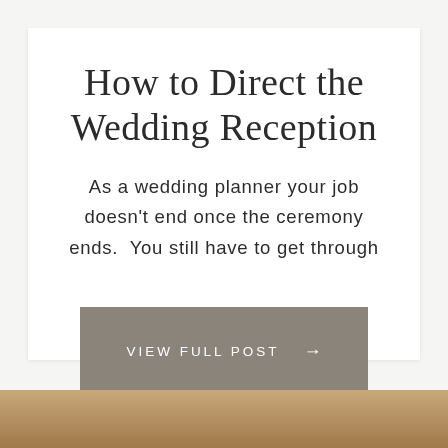How to Direct the Wedding Reception
As a wedding planner your job doesn't end once the ceremony ends.  You still have to get through
VIEW FULL POST →